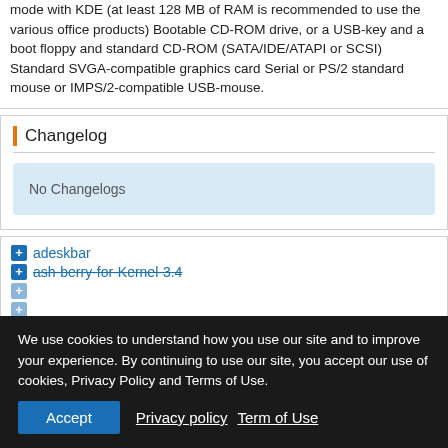mode with KDE (at least 128 MB of RAM is recommended to use the various office products) Bootable CD-ROM drive, or a USB-key and a boot floppy and standard CD-ROM (SATA/IDE/ATAPI or SCSI) Standard SVGA-compatible graphics card Serial or PS/2 standard mouse or IMPS/2-compatible USB-mouse.
Changelog
No Changelogs
adeskbar
ash-berry-for-Kernel-3.4
berry-kde4-config
We use cookies to understand how you use our site and to improve your experience. By continuing to use our site, you accept our use of cookies, Privacy Policy and Terms of Use.